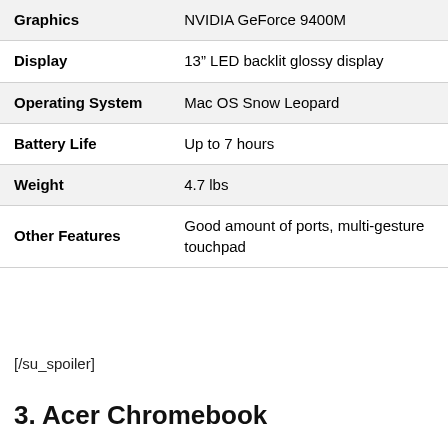| Feature | Detail |
| --- | --- |
| Graphics | NVIDIA GeForce 9400M |
| Display | 13” LED backlit glossy display |
| Operating System | Mac OS Snow Leopard |
| Battery Life | Up to 7 hours |
| Weight | 4.7 lbs |
| Other Features | Good amount of ports, multi-gesture touchpad |
[/su_spoiler]
3. Acer Chromebook